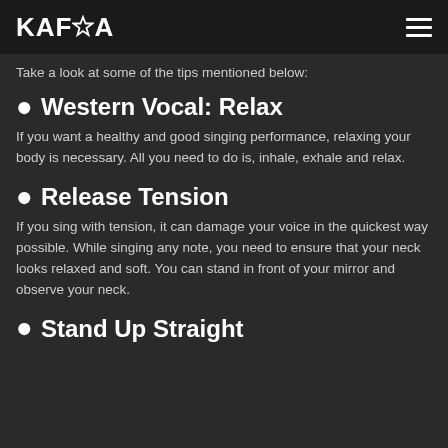KAFQA
Take a look at some of the tips mentioned below:
Western Vocal: Relax
If you want a healthy and good singing performance, relaxing your body is necessary. All you need to do is, inhale, exhale and relax.
Release Tension
If you sing with tension, it can damage your voice in the quickest way possible. While singing any note, you need to ensure that your neck looks relaxed and soft. You can stand in front of your mirror and observe your neck.
Stand Up Straight